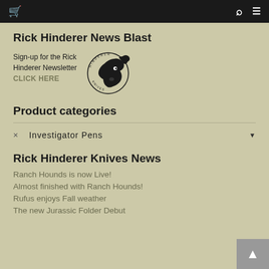Rick Hinderer Knives — navigation bar with cart, search, and menu icons
Rick Hinderer News Blast
Sign-up for the Rick Hinderer Newsletter CLICK HERE
[Figure (logo): Rick Hinderer Knives horse head logo in black]
Product categories
× Investigator Pens
Rick Hinderer Knives News
Ranch Hounds is now Live!
Almost finished with Ranch Hounds!
Rufus enjoys Fall weather
The new Jurassic Folder Debut